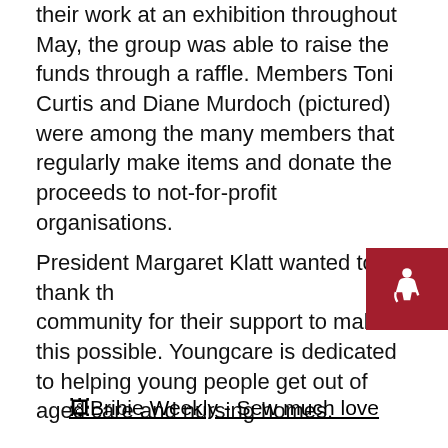their work at an exhibition throughout May, the group was able to raise the funds through a raffle. Members Toni Curtis and Diane Murdoch (pictured) were among the many members that regularly make items and donate the proceeds to not-for-profit organisations.
President Margaret Klatt wanted to thank the community for their support to make this possible. Youngcare is dedicated to helping young people get out of aged care and nursing homes.
[Figure (other): Bribie Weekly - Sew much love image link with broken image icon]